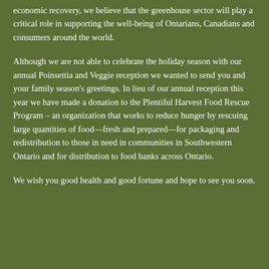economic recovery, we believe that the greenhouse sector will play a critical role in supporting the well-being of Ontarians, Canadians and consumers around the world.
Although we are not able to celebrate the holiday season with our annual Poinsettia and Veggie reception we wanted to send you and your family season's greetings. In lieu of our annual reception this year we have made a donation to the Plentiful Harvest Food Rescue Program – an organization that works to reduce hunger by rescuing large quantities of food—fresh and prepared—for packaging and redistribution to those in need in communities in Southwestern Ontario and for distribution to food banks across Ontario.
We wish you good health and good fortune and hope to see you soon.